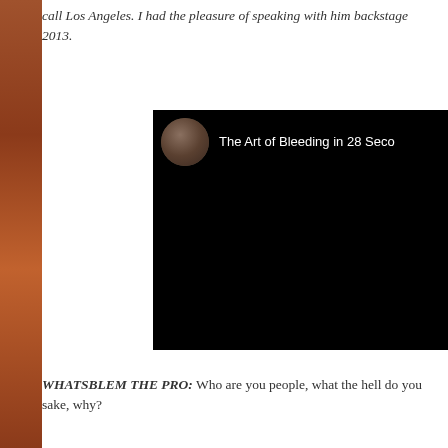call Los Angeles. I had the pleasure of speaking with him backstage 2013.
[Figure (screenshot): A video thumbnail/embed showing a black background with a circular avatar photo in the top-left corner and white text reading 'The Art of Bleeding in 28 Seco' (truncated)]
WHATSBLEM THE PRO: Who are you people, what the hell do you sake, why?